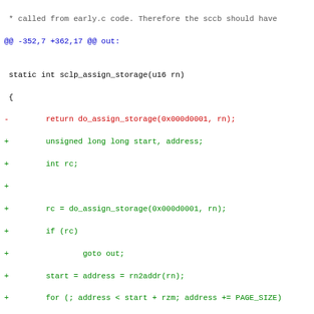* called from early.c code. Therefore the sccb should have
@@ -352,7 +362,17 @@ out:
static int sclp_assign_storage(u16 rn)
 {
-        return do_assign_storage(0x000d0001, rn);
+        unsigned long long start, address;
+        int rc;
+
+        rc = do_assign_storage(0x000d0001, rn);
+        if (rc)
+                goto out;
+        start = address = rn2addr(rn);
+        for (; address < start + rzm; address += PAGE_SIZE)
+                page_set_storage_key(address, PAGE_DEFAULT_KE
+out:
+        return rc;
 }
static int sclp_unassign_storage(u16 rn)
diff --git a/drivers/s390/char/sclp_sdias.c b/drivers/s390/ch
index 69e6c50d4cf..50f7115990f 100644
--- a/drivers/s390/char/sclp_sdias.c
+++ b/drivers/s390/char/sclp_sdias.c
@@ -311,7 +311,7 @@ int sclp_sdias_copy(void *dest, int start